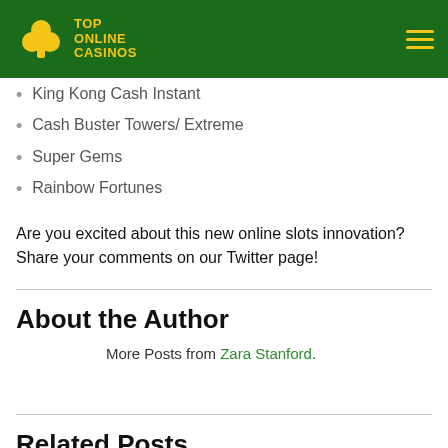TOP ONLINE CASINOS
King Kong Cash Instant
Cash Buster Towers/ Extreme
Super Gems
Rainbow Fortunes
Are you excited about this new online slots innovation? Share your comments on our Twitter page!
About the Author
More Posts from Zara Stanford.
Related Posts
[Figure (other): Green banner with text YOUR LUCKY LOTTERY]